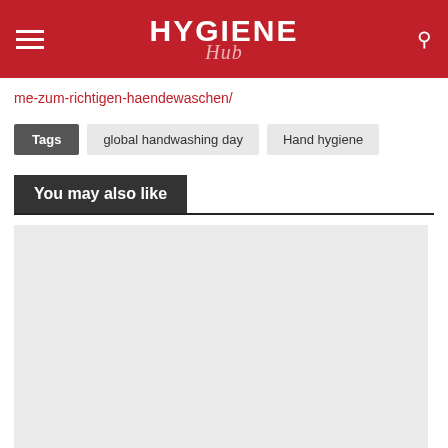HYGIENE Hub
me-zum-richtigen-haendewaschen/
Tags  global handwashing day  Hand hygiene
You may also like
[Figure (other): Placeholder image area, light grey rectangle]
< navigation arrow | comment | f | twitter | in | email | whatsapp | > navigation arrow